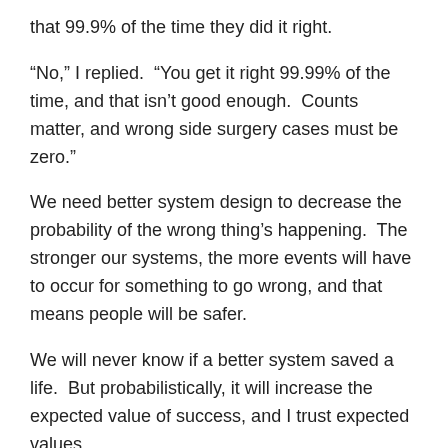that 99.9% of the time they did it right.
“No,” I replied.  “You get it right 99.99% of the time, and that isn’t good enough.  Counts matter, and wrong side surgery cases must be zero.”
We need better system design to decrease the probability of the wrong thing’s happening.  The stronger our systems, the more events will have to occur for something to go wrong, and that means people will be safer.
We will never know if a better system saved a life.  But probabilistically, it will increase the expected value of success, and I trust expected values.
Loading...